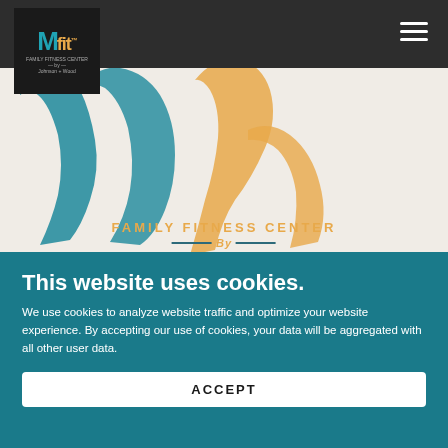[Figure (logo): Mfit logo with teal M and orange fit text on dark background]
[Figure (illustration): Website hero area showing decorative large teal and orange brush-stroke letters spelling Mya, with GYM text faintly visible top right, and FAMILY FITNESS CENTER BY text below in orange]
This website uses cookies.
We use cookies to analyze website traffic and optimize your website experience. By accepting our use of cookies, your data will be aggregated with all other user data.
ACCEPT